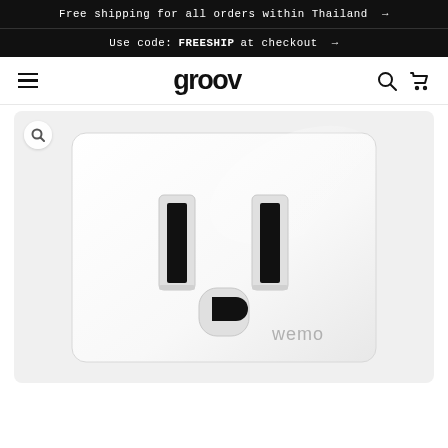Free shipping for all orders within Thailand →
Use code: FREESHIP at checkout →
groov
[Figure (photo): Close-up product photo of a Wemo smart plug / electrical outlet face (white), showing two rectangular vertical slots and one semi-circular ground slot, with 'wemo' branding text in lower right. White glossy finish with slight reflection. Zoom button in top-left corner.]